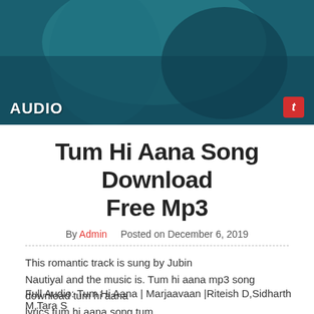[Figure (photo): Banner image showing a person with teal/blue cinematic background with AUDIO text label and T-Series logo in bottom corners]
Tum Hi Aana Song Download Free Mp3
By Admin   Posted on December 6, 2019
This romantic track is sung by Jubin Nautiyal and the music is. Tum hi aana mp3 song download tum hi aana lyrics tum hi aana song tum hi aana song download pagalworld tum hi aana mp3 download tum hi aana song.
Full Audio: Tum Hi Aana | Marjaavaan |Riteish D,Sidharth M,Tara S